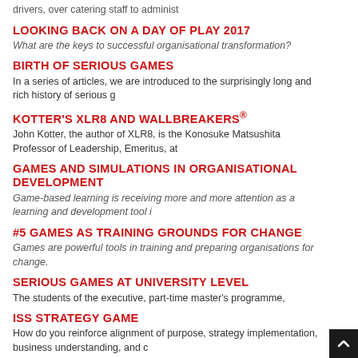drivers, over catering staff to administ
LOOKING BACK ON A DAY OF PLAY 2017
What are the keys to successful organisational transformation?
BIRTH OF SERIOUS GAMES
In a series of articles, we are introduced to the surprisingly long and rich history of serious g
KOTTER'S XLR8 AND WALLBREAKERS®
John Kotter, the author of XLR8, is the Konosuke Matsushita Professor of Leadership, Emeritus, at
GAMES AND SIMULATIONS IN ORGANISATIONAL DEVELOPMENT
Game-based learning is receiving more and more attention as a learning and development tool i
#5 GAMES AS TRAINING GROUNDS FOR CHANGE
Games are powerful tools in training and preparing organisations for change.
SERIOUS GAMES AT UNIVERSITY LEVEL
The students of the executive, part-time master's programme,
ISS STRATEGY GAME
How do you reinforce alignment of purpose, strategy implementation, business understanding, and c